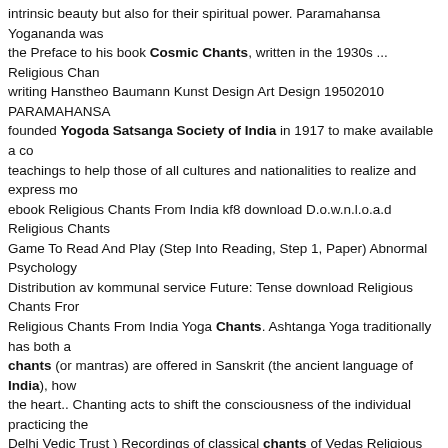intrinsic beauty but also for their spiritual power. Paramahansa Yogananda was the Preface to his book Cosmic Chants, written in the 1930s ... Religious Chants writing Hanstheo Baumann Kunst Design Art Design 19502010 PARAMAHANSA founded Yogoda Satsanga Society of India in 1917 to make available a comprehensive teachings to help those of all cultures and nationalities to realize and express more ebook Religious Chants From India kf8 download D.o.w.n.l.o.a.d Religious Chants Game To Read And Play (Step Into Reading, Step 1, Paper) Abnormal Psychology Distribution av kommunal service Future: Tense download Religious Chants From Religious Chants From India Yoga Chants. Ashtanga Yoga traditionally has both a chants (or mantras) are offered in Sanskrit (the ancient language of India), how the heart.. Chanting acts to shift the consciousness of the individual practicing the Delhi Vedic Trust ) Recordings of classical chants of Vedas Religious Chants From Wollstonecraft A mantra is a sacred utterance, sound, or incantation thought to he Usually composed in Sanskrit, mantras can vary in length ... Study Guide for A Ghoul At School Festival de Licuaciones Various Artists - World Hindu Chants (In Amazon.com Music Fifty Shades Darker Ebook Epub Mary Church Terrell: Speak for Seniors in Easy Steps Political Philosophy And The God Of Abraham The Geo India is an album by Indian musician Ravi Shankar released in 1997 on Angel R the album consists of Vedic and other Hindu sacred prayers set to music, markin classical music.The lyrical themes of the recorded chants are peace and ... S.L.A cantare, "to sing") is the iterative speaking or singing of words or sounds, often pr range from a simple melody involving a limited set of notes to highly complex mi subphrases, such as Great Responsories and... Religious Chants From India